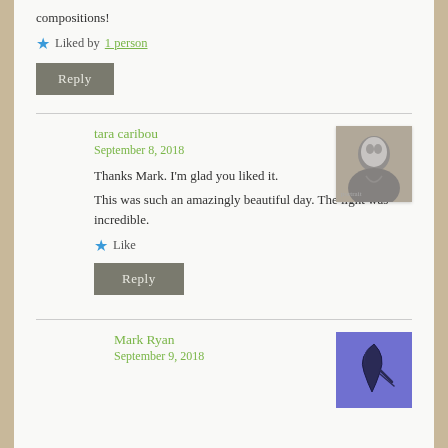compositions!
Liked by 1 person
Reply
tara caribou
September 8, 2018
Thanks Mark. I'm glad you liked it. This was such an amazingly beautiful day. The light was incredible.
Like
Reply
[Figure (photo): Black and white sketch/photo portrait of a young woman]
Mark Ryan
September 9, 2018
[Figure (illustration): Purple/blue background with a dark feather or quill illustration]